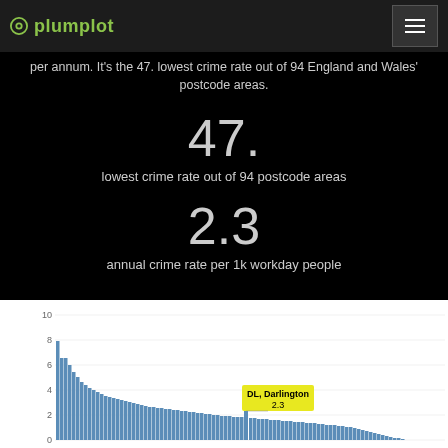plumplot
per annum. It's the 47. lowest crime rate out of 94 England and Wales' postcode areas.
47.
lowest crime rate out of 94 postcode areas
2.3
annual crime rate per 1k workday people
[Figure (bar-chart): Bar chart showing crime rates for 94 England and Wales postcode areas ranked from highest to lowest, with DL Darlington highlighted at rank 47 with value 2.3]